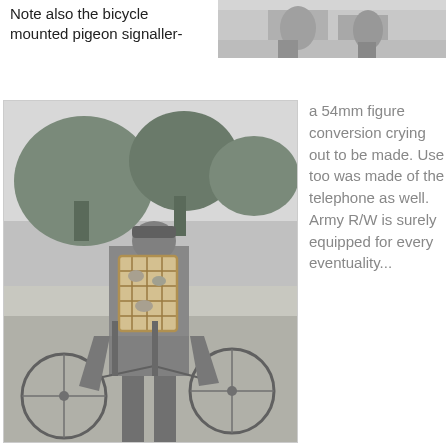Note also the bicycle mounted pigeon signaller-
[Figure (photo): Black and white photo strip at top right showing feet/shoes]
[Figure (photo): Black and white historical photograph of a soldier/signaller with a bicycle, carrying a large wicker cage on their back containing pigeons, standing in a rural setting with trees in background]
a 54mm figure conversion crying out to be made. Use too was made of the telephone as well. Army R/W is surely equipped for every eventuality...